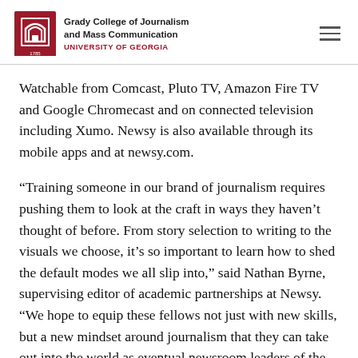Grady College of Journalism and Mass Communication — UNIVERSITY OF GEORGIA
Watchable from Comcast, Pluto TV, Amazon Fire TV and Google Chromecast and on connected television including Xumo. Newsy is also available through its mobile apps and at newsy.com.
“Training someone in our brand of journalism requires pushing them to look at the craft in ways they haven’t thought of before. From story selection to writing to the visuals we choose, it’s so important to learn how to shed the default modes we all slip into,” said Nathan Byrne, supervising editor of academic partnerships at Newsy. “We hope to equip these fellows not just with new skills, but a new mindset around journalism that they can take out into the world as eventual newsroom leaders of the future.”